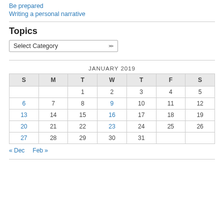Be prepared
Writing a personal narrative
Topics
Select Category
| S | M | T | W | T | F | S |
| --- | --- | --- | --- | --- | --- | --- |
|  |  | 1 | 2 | 3 | 4 | 5 |
| 6 | 7 | 8 | 9 | 10 | 11 | 12 |
| 13 | 14 | 15 | 16 | 17 | 18 | 19 |
| 20 | 21 | 22 | 23 | 24 | 25 | 26 |
| 27 | 28 | 29 | 30 | 31 |  |  |
« Dec   Feb »